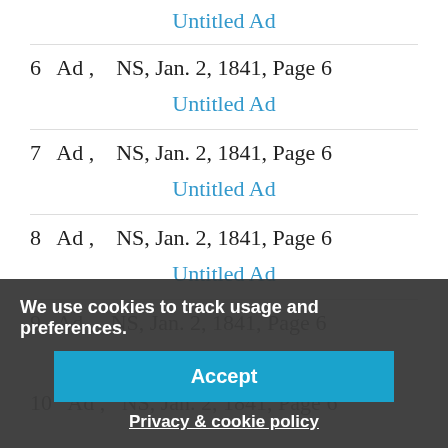Untitled Ad
6  Ad ,   NS, Jan. 2, 1841, Page 6
Untitled Ad
7  Ad ,   NS, Jan. 2, 1841, Page 6
Untitled Ad
8  Ad ,   NS, Jan. 2, 1841, Page 6
Untitled Ad
9  Ad ,   NS, Jan. 2, 1841, Page 6
Untitled Ad
10  Ad ,   NS, Jan. 2, 1841, Page 6
We use cookies to track usage and preferences.
Accept
Privacy & cookie policy